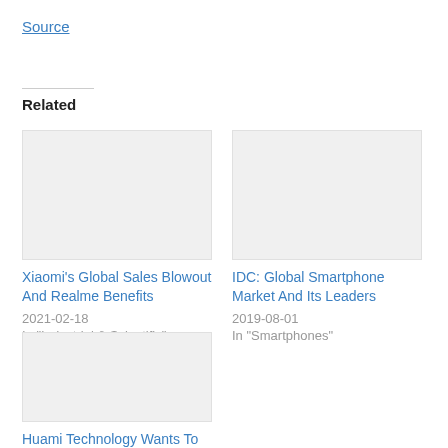Source
Related
Xiaomi's Global Sales Blowout And Realme Benefits
2021-02-18
In "Industrial & Scientific"
IDC: Global Smartphone Market And Its Leaders
2019-08-01
In "Smartphones"
Huami Technology Wants To Gain In market Part...